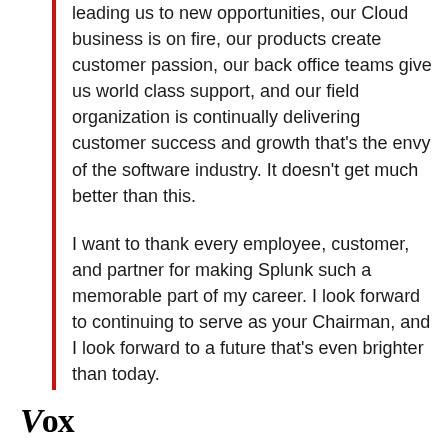leading us to new opportunities, our Cloud business is on fire, our products create customer passion, our back office teams give us world class support, and our field organization is continually delivering customer success and growth that's the envy of the software industry. It doesn't get much better than this.
I want to thank every employee, customer, and partner for making Splunk such a memorable part of my career. I look forward to continuing to serve as your Chairman, and I look forward to a future that's even brighter than today.
Please int...
[Figure (logo): Vox media logo in bold black text at bottom left]